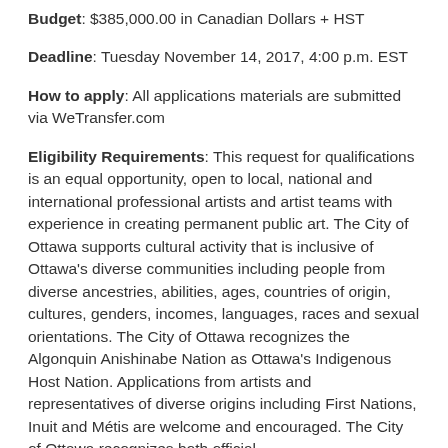Budget: $385,000.00 in Canadian Dollars + HST
Deadline: Tuesday November 14, 2017, 4:00 p.m. EST
How to apply: All applications materials are submitted via WeTransfer.com
Eligibility Requirements: This request for qualifications is an equal opportunity, open to local, national and international professional artists and artist teams with experience in creating permanent public art. The City of Ottawa supports cultural activity that is inclusive of Ottawa's diverse communities including people from diverse ancestries, abilities, ages, countries of origin, cultures, genders, incomes, languages, races and sexual orientations. The City of Ottawa recognizes the Algonquin Anishinabe Nation as Ottawa's Indigenous Host Nation. Applications from artists and representatives of diverse origins including First Nations, Inuit and Métis are welcome and encouraged. The City of Ottawa recognizes both official